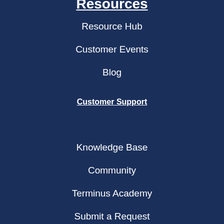Resources
Resource Hub
Customer Events
Blog
Customer Support
Knowledge Base
Community
Terminus Academy
Submit a Request